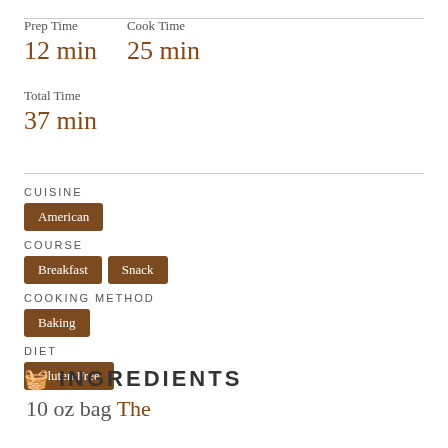Prep Time
12 min
Cook Time
25 min
Total Time
37 min
CUISINE
American
COURSE
Breakfast
Snack
COOKING METHOD
Baking
DIET
Gluten Free
INGREDIENTS
10 oz bag The